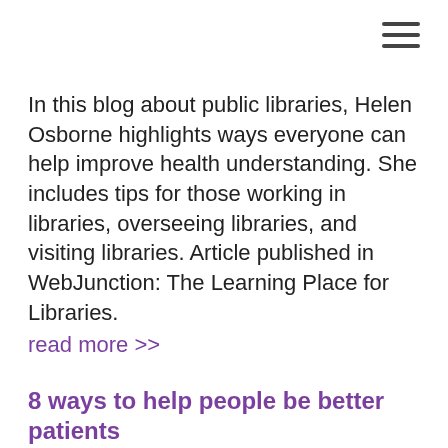[Figure (other): Hamburger menu icon (three horizontal lines) in top right corner]
In this blog about public libraries, Helen Osborne highlights ways everyone can help improve health understanding. She includes tips for those working in libraries, overseeing libraries, and visiting libraries. Article published in WebJunction: The Learning Place for Libraries.
read more >>
8 ways to help people be better patients
May 7, 2016
Helen Osborne writes about ways that teachers, family members, and friends can help people be better patients.